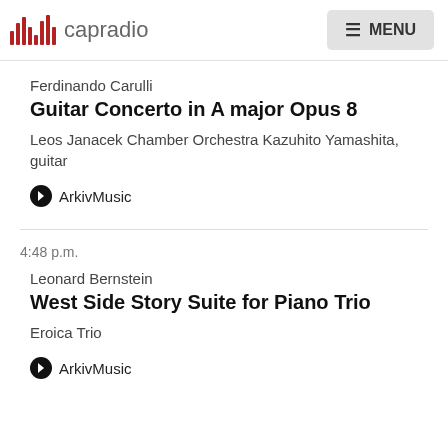capradio  MENU
Ferdinando Carulli
Guitar Concerto in A major Opus 8
Leos Janacek Chamber Orchestra Kazuhito Yamashita, guitar
ArkivMusic
4:48 p.m.
Leonard Bernstein
West Side Story Suite for Piano Trio
Eroica Trio
ArkivMusic